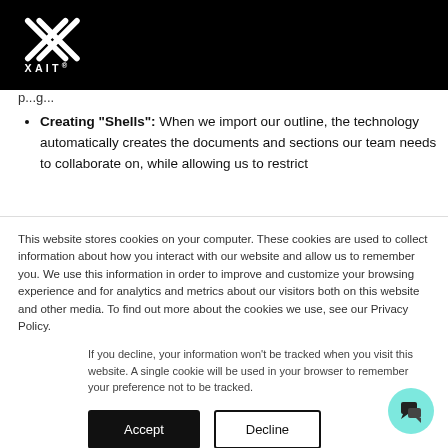[Figure (logo): XAIT logo: stylized X in white on black background with XAIT text below]
p...g...
Creating "Shells": When we import our outline, the technology automatically creates the documents and sections our team needs to collaborate on, while allowing us to restrict
This website stores cookies on your computer. These cookies are used to collect information about how you interact with our website and allow us to remember you. We use this information in order to improve and customize your browsing experience and for analytics and metrics about our visitors both on this website and other media. To find out more about the cookies we use, see our Privacy Policy.
If you decline, your information won't be tracked when you visit this website. A single cookie will be used in your browser to remember your preference not to be tracked.